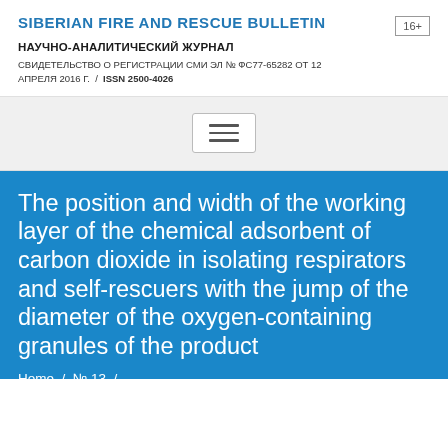SIBERIAN FIRE AND RESCUE BULLETIN | 16+ | НАУЧНО-АНАЛИТИЧЕСКИЙ ЖУРНАЛ | СВИДЕТЕЛЬСТВО О РЕГИСТРАЦИИ СМИ ЭЛ № ФС77-65282 ОТ 12 АПРЕЛЯ 2016 Г. / ISSN 2500-4026
[Figure (other): Navigation hamburger menu button with three horizontal lines]
The position and width of the working layer of the chemical adsorbent of carbon dioxide in isolating respirators and self-rescuers with the jump of the diameter of the oxygen-containing granules of the product
Home / № 13 / The position and width of the working layer of the chemical